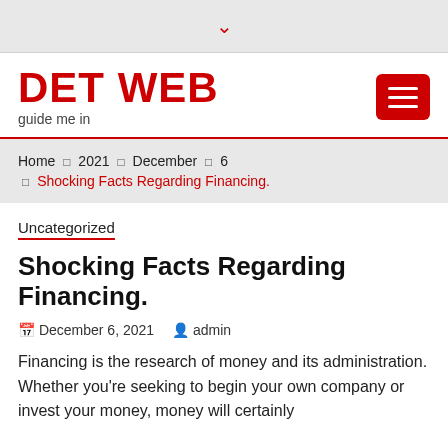▾
DET WEB
guide me in
Home › 2021 › December › 6 › Shocking Facts Regarding Financing.
Uncategorized
Shocking Facts Regarding Financing.
December 6, 2021   admin
Financing is the research of money and its administration. Whether you're seeking to begin your own company or invest your money, money will certainly